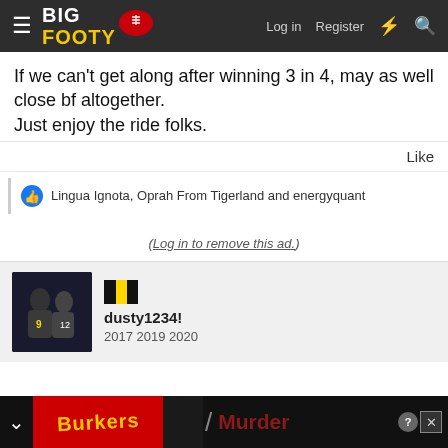BigFooty — Log in | Register
If we can't get along after winning 3 in 4, may as well close bf altogether.
Just enjoy the ride folks.
Like
Lingua Ignota, Oprah From Tigerland and energyquant
(Log in to remove this ad.)
dusty1234!
2017 2019 2020
[Figure (screenshot): Bottom advertisement banner showing 'Murder' text in dark red on dark background with close/dismiss buttons]